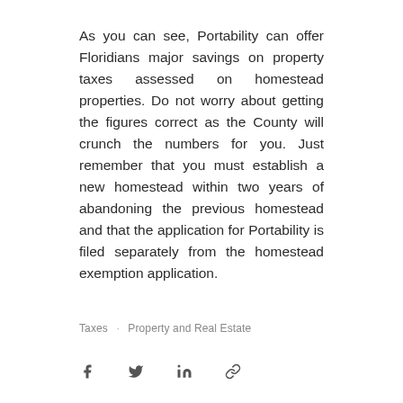As you can see, Portability can offer Floridians major savings on property taxes assessed on homestead properties. Do not worry about getting the figures correct as the County will crunch the numbers for you. Just remember that you must establish a new homestead within two years of abandoning the previous homestead and that the application for Portability is filed separately from the homestead exemption application.
Taxes · Property and Real Estate